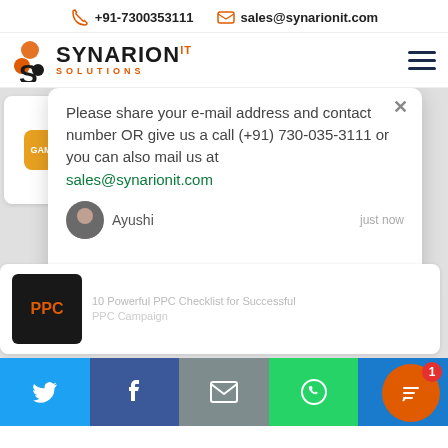+91-7300353111   sales@synarionit.com
[Figure (logo): Synarion IT Solutions logo with stylized S icon in orange and dark colors]
Please share your e-mail address and contact number OR give us a call (+91) 730-035-3111 or you can also mail us at sales@synarionit.com
Ayushi   just now
10 Powerful PPC Checklist for Successful PPC Campaign
Write a reply..
[Figure (screenshot): Website screenshot showing Synarion IT Solutions contact info, chat popup with message to share email and phone number, and social media footer bar with Twitter, Facebook, Email, WhatsApp, SMS icons]